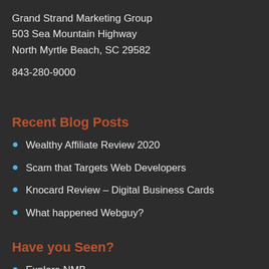Grand Strand Marketing Group
503 Sea Mountain Highway
North Myrtle Beach, SC 29582
843-280-9000
Recent Blog Posts
Wealthy Affiliate Review 2020
Scam that Targets Web Developers
Knocard Review – Digital Business Cards
What happened Webguy?
Have you Seen?
Explore NMB
Beach Music Events